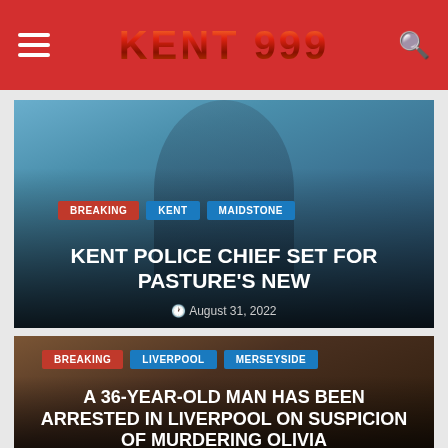KENT 999
[Figure (photo): Police officer in uniform, smiling, wearing a dark uniform with medals/ribbons. Blue background.]
BREAKING | KENT | MAIDSTONE
KENT POLICE CHIEF SET FOR PASTURE'S NEW
August 31, 2022
[Figure (photo): Dark image of a crowd or gathering, possibly related to a Liverpool news story.]
BREAKING | LIVERPOOL | MERSEYSIDE
A 36-YEAR-OLD MAN HAS BEEN ARRESTED IN LIVERPOOL ON SUSPICION OF MURDERING OLIVIA